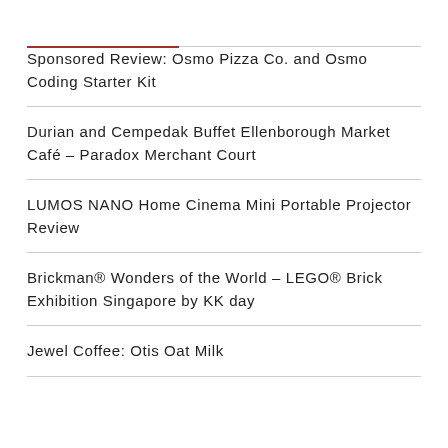Sponsored Review: Osmo Pizza Co. and Osmo Coding Starter Kit
Durian and Cempedak Buffet Ellenborough Market Café – Paradox Merchant Court
LUMOS NANO Home Cinema Mini Portable Projector Review
Brickman® Wonders of the World – LEGO® Brick Exhibition Singapore by KK day
Jewel Coffee: Otis Oat Milk